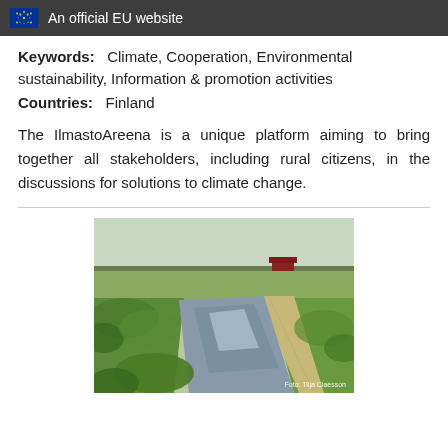An official EU website
Keywords: Climate, Cooperation, Environmental sustainability, Information & promotion activities
Countries: Finland
The IlmastoAreena is a unique platform aiming to bring together all stakeholders, including rural citizens, in the discussions for solutions to climate change.
[Figure (photo): Rural landscape with a winding stream or drainage ditch running through green fields, with a red farm building visible in the distance. Photo credit: Foto: Tilja Claesson]